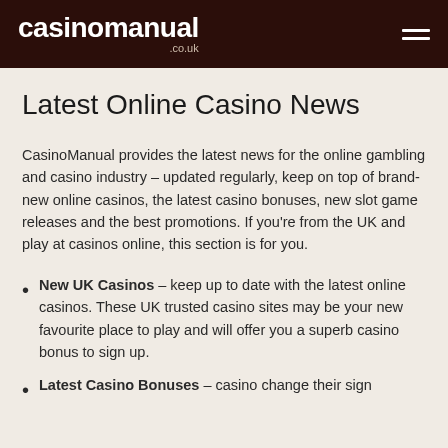casinomanual .co.uk
Latest Online Casino News
CasinoManual provides the latest news for the online gambling and casino industry – updated regularly, keep on top of brand-new online casinos, the latest casino bonuses, new slot game releases and the best promotions. If you're from the UK and play at casinos online, this section is for you.
New UK Casinos – keep up to date with the latest online casinos. These UK trusted casino sites may be your new favourite place to play and will offer you a superb casino bonus to sign up.
Latest Casino Bonuses – casino change their sign